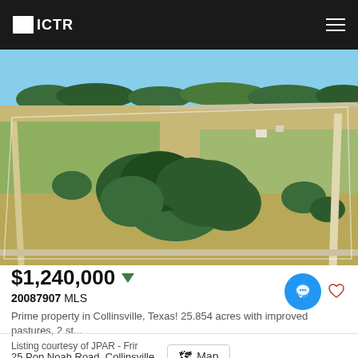ICTR
[Figure (photo): Aerial drone photograph of a large rural property in Collinsville, Texas showing green pastures, wooded areas with dense trees, open grassland, two ponds/lakes visible in the upper left, and dirt/paved roads along property boundaries. Sky visible at top.]
$1,240,000 ▼
20087907 MLS
Prime property in Collinsville, Texas! 25.854 acres with improved pastures, 2 st...
25 Pop Noah Road, Collinsville
Map
Listing courtesy of JPAR - Frir